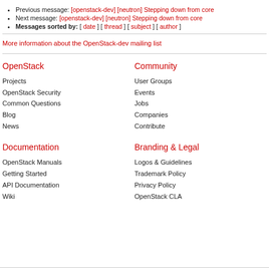Previous message: [openstack-dev] [neutron] Stepping down from core
Next message: [openstack-dev] [neutron] Stepping down from core
Messages sorted by: [ date ] [ thread ] [ subject ] [ author ]
More information about the OpenStack-dev mailing list
OpenStack
Community
Projects
User Groups
OpenStack Security
Events
Common Questions
Jobs
Blog
Companies
News
Contribute
Documentation
Branding & Legal
OpenStack Manuals
Logos & Guidelines
Getting Started
Trademark Policy
API Documentation
Privacy Policy
Wiki
OpenStack CLA